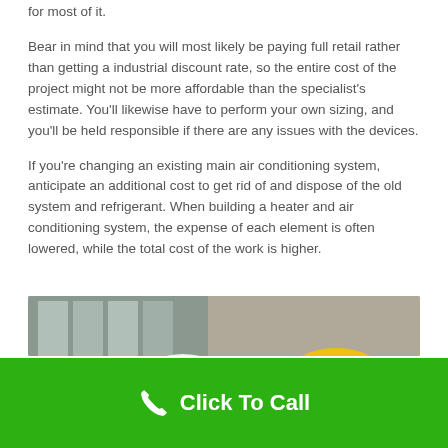for most of it.
Bear in mind that you will most likely be paying full retail rather than getting a industrial discount rate, so the entire cost of the project might not be more affordable than the specialist's estimate. You'll likewise have to perform your own sizing, and you'll be held responsible if there are any issues with the devices.
If you're changing an existing main air conditioning system, anticipate an additional cost to get rid of and dispose of the old system and refrigerant. When building a heater and air conditioning system, the expense of each element is often lowered, while the total cost of the work is higher.
[Figure (photo): Two construction workers wearing hard hats (one white, one yellow) looking down at something, with HVAC or mechanical equipment visible in the background.]
Click To Call